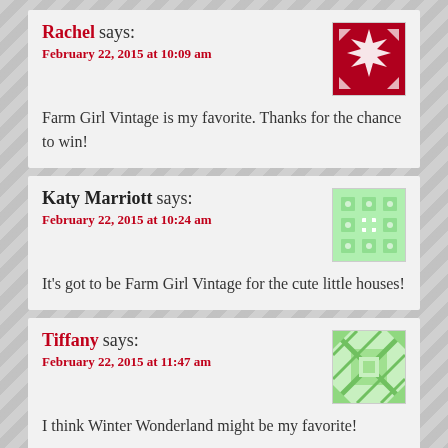Rachel says: February 22, 2015 at 10:09 am
Farm Girl Vintage is my favorite. Thanks for the chance to win!
Katy Marriott says: February 22, 2015 at 10:24 am
It's got to be Farm Girl Vintage for the cute little houses!
Tiffany says: February 22, 2015 at 11:47 am
I think Winter Wonderland might be my favorite!